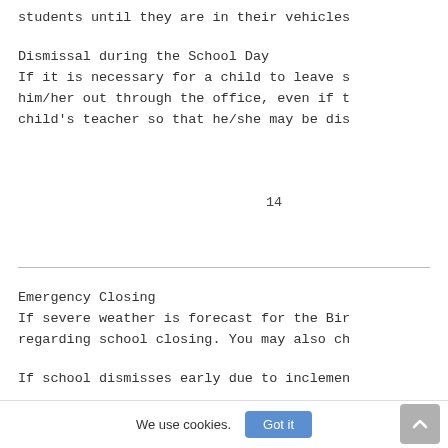students until they are in their vehicles
Dismissal during the School Day
If it is necessary for a child to leave s him/her out through the office, even if t child's teacher so that he/she may be dis
14
Emergency Closing
If severe weather is forecast for the Bir regarding school closing. You may also ch
If school dismisses early due to inclemen